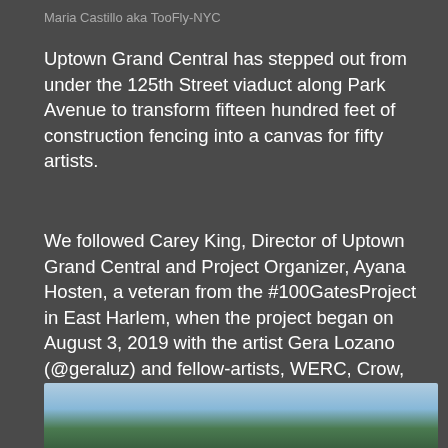Maria Castillo aka TooFly-NYC
Uptown Grand Central has stepped out from under the 125th Street viaduct along Park Avenue to transform fifteen hundred feet of construction fencing into a canvas for fifty artists.
We followed Carey King, Director of Uptown Grand Central and Project Organizer, Ayana Hosten, a veteran from the #100GatesProject in East Harlem, when the project began on August 3, 2019 with the artist Gera Lozano (@geraluz) and fellow-artists, WERC, Crow, Jill Folino and Kristy McCarthy, painting the entire south-west corner at Park Avenue and 125th Street.
[Figure (photo): Outdoor photo showing sky with clouds and green trees at bottom, partial view of street scene near Park Avenue and 125th Street]